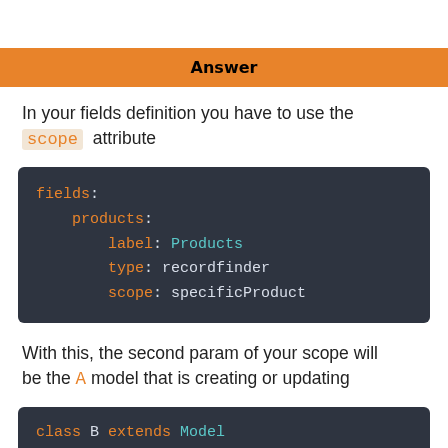Answer
In your fields definition you have to use the scope attribute
[Figure (screenshot): Code block showing YAML fields definition with products: label: Products, type: recordfinder, scope: specificProduct]
With this, the second param of your scope will be the A model that is creating or updating
[Figure (screenshot): Code block showing: class B extends Model]